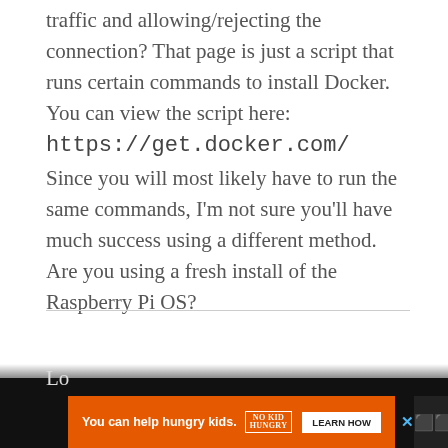traffic and allowing/rejecting the connection? That page is just a script that runs certain commands to install Docker. You can view the script here: https://get.docker.com/ Since you will most likely have to run the same commands, I'm not sure you'll have much success using a different method. Are you using a fresh install of the Raspberry Pi OS?
Noor 1 MAR 2021
Thank you so much for keeping this up to date!
[Figure (other): Advertisement banner: orange box reading 'You can help hungry kids.' with No Kid Hungry logo and 'LEARN HOW' button, on dark background with close X button]